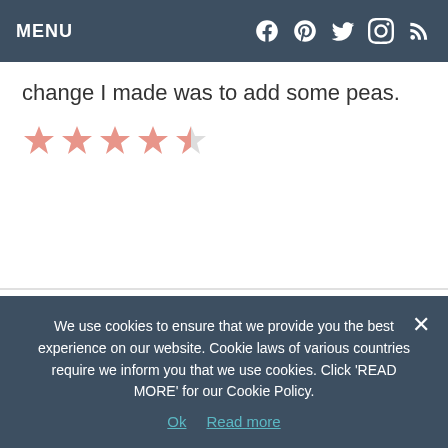MENU
change I made was to add some peas.
[Figure (other): 4 out of 5 stars rating (pink/salmon colored stars)]
CABRI HINZ — MARCH 10, 2022 @ 12:08 AM
REPLY
Came across this recipe because I needed to know what settings I needed to set my stew for. I ended up following the rest of the recipe, and it was delicious! Only thing I
We use cookies to ensure that we provide you the best experience on our website. Cookie laws of various countries require we inform you that we use cookies. Click 'READ MORE' for our Cookie Policy.
Ok   Read more